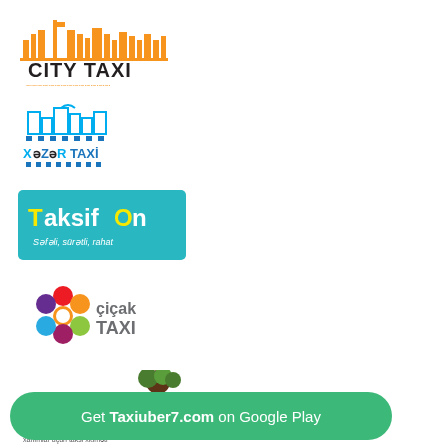[Figure (logo): City Taxi logo with orange cityscape silhouette and text CITY TAXI]
[Figure (logo): Xəzər Taxi logo with blue/cyan color scheme showing buildings and taxi text]
[Figure (logo): TaksifOn logo with teal/turquoise background and colorful text, subtitle: Səfəli, sürətli, rahat]
[Figure (logo): Çiçak Taxi logo with colorful flower/circles icon and text çiçak TAXI]
[Figure (logo): Zərif Taxi logo with pink/magenta text zərif, TAXI badge, phone number *7177]
[Figure (logo): Circular taxi logo with yellow taxi car on dark circular background]
[Figure (logo): Broken/missing image placeholder with small icon]
[Figure (logo): Green T button icon in rounded rectangle]
Get Taxiuber7.com on Google Play